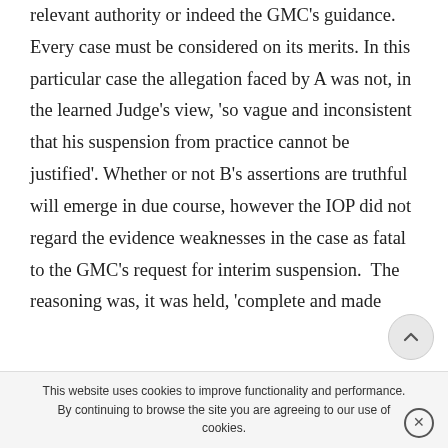relevant authority or indeed the GMC's guidance. Every case must be considered on its merits. In this particular case the allegation faced by A was not, in the learned Judge's view, 'so vague and inconsistent that his suspension from practice cannot be justified'. Whether or not B's assertions are truthful will emerge in due course, however the IOP did not regard the evidence weaknesses in the case as fatal to the GMC's request for interim suspension.  The reasoning was, it was held, 'complete and made
This website uses cookies to improve functionality and performance. By continuing to browse the site you are agreeing to our use of cookies.